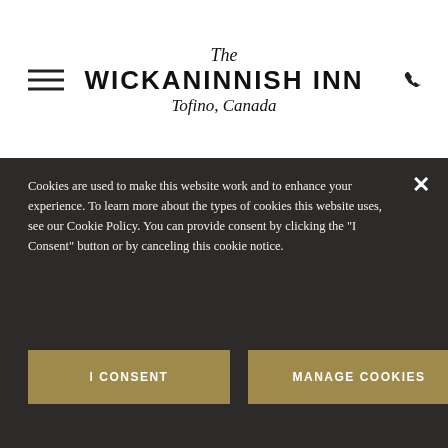[Figure (logo): The Wickaninnish Inn, Tofino, Canada logo with hamburger menu icon on left and phone icon on right]
[Figure (photo): Close-up photo of a door handle/latch with ocean visible in the background through a window]
Cookies are used to make this website work and to enhance your experience. To learn more about the types of cookies this website uses, see our Cookie Policy. You can provide consent by clicking the "I Consent" button or by canceling this cookie notice.
I CONSENT
MANAGE COOKIES